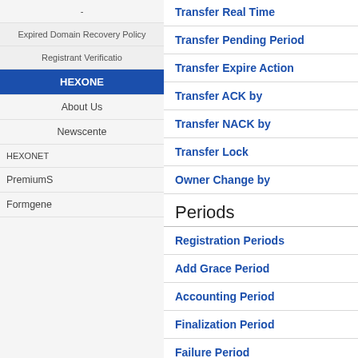-
Expired Domain Recovery Policy
Registrant Verification
HEXONE
About Us
Newscenter
HEXONET
PremiumS
Formgene
Transfer Real Time
Transfer Pending Period
Transfer Expire Action
Transfer ACK by
Transfer NACK by
Transfer Lock
Owner Change by
Periods
Registration Periods
Add Grace Period
Accounting Period
Finalization Period
Failure Period
Payment Period